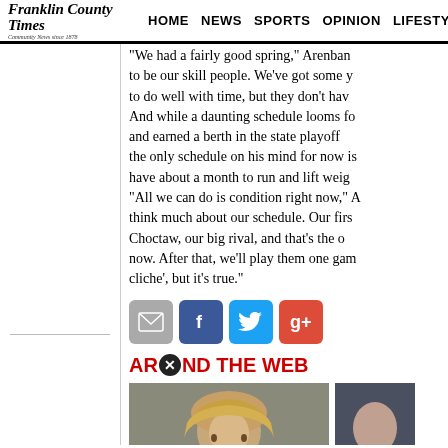Franklin County Times | HOME | NEWS | SPORTS | OPINION | LIFESTYLES
"We had a fairly good spring," Arenban... to be our skill people. We've got some y... to do well with time, but they don't hav... And while a daunting schedule looms fo... and earned a berth in the state playoff... the only schedule on his mind for now is... have about a month to run and lift weig... "All we can do is condition right now," A... think much about our schedule. Our fir... Choctaw, our big rival, and that's the o... now. After that, we'll play them one ga... cliche', but it's true."
[Figure (other): Social sharing icons: email (gray), Facebook (blue), Twitter (cyan), Google+ (red)]
AROUND THE WEB
[Figure (photo): Photo of a blonde woman, headshot]